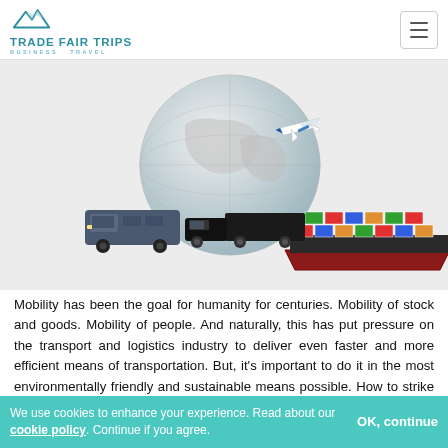TRADE FAIR TRIPS BUSINESS TRAVEL
[Figure (illustration): Globe with airplane flying around it, surrounded by a blue van, black semi truck, and container ship — representing global transport and logistics.]
Mobility has been the goal for humanity for centuries. Mobility of stock and goods. Mobility of people. And naturally, this has put pressure on the transport and logistics industry to deliver even faster and more efficient means of transportation. But, it's important to do it in the most environmentally friendly and sustainable means possible. How to strike this balance? Where's the technology to allow that? What is the future of the sector?
We use cookies to enhance your experience. Read about our cookie policy. Continue if you agree. OK, continue